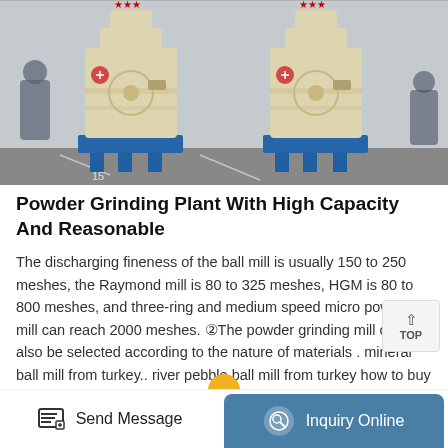[Figure (photo): Two large cream/beige colored industrial powder grinding mills with blue bases and red star emblems on top, shown on a factory floor. The machines are tall cylindrical units with funnel-shaped tops.]
Powder Grinding Plant With High Capacity And Reasonable
The discharging fineness of the ball mill is usually 150 to 250 meshes, the Raymond mill is 80 to 325 meshes, HGM is 80 to 800 meshes, and three-ring and medium speed micro powder mill can reach 2000 meshes. ②The powder grinding mill can also be selected according to the nature of materials . mineral ball mill from turkey.. river pebble ball mill from turkey how to buy at the cheapest price
Send Message   Inquiry Online